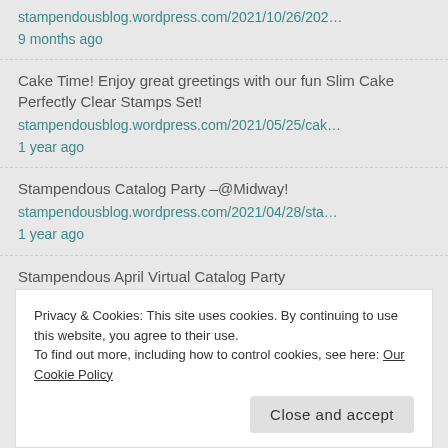stampendousblog.wordpress.com/2021/10/26/202…
9 months ago
Cake Time! Enjoy great greetings with our fun Slim Cake Perfectly Clear Stamps Set!
stampendousblog.wordpress.com/2021/05/25/cak…
1 year ago
Stampendous Catalog Party –@Midway!
stampendousblog.wordpress.com/2021/04/28/sta…
1 year ago
Stampendous April Virtual Catalog Party
Privacy & Cookies: This site uses cookies. By continuing to use this website, you agree to their use.
To find out more, including how to control cookies, see here: Our Cookie Policy